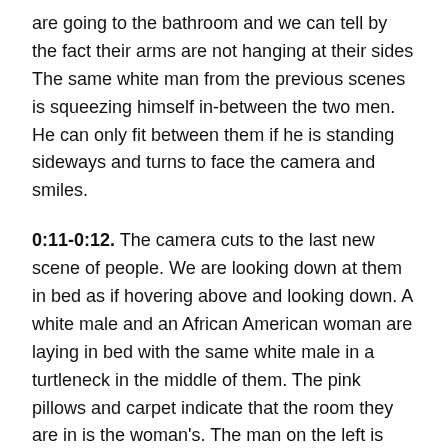are going to the bathroom and we can tell by the fact their arms are not hanging at their sides The same white man from the previous scenes is squeezing himself in-between the two men. He can only fit between them if he is standing sideways and turns to face the camera and smiles.
0:11-0:12. The camera cuts to the last new scene of people. We are looking down at them in bed as if hovering above and looking down. A white male and an African American woman are laying in bed with the same white male in a turtleneck in the middle of them. The pink pillows and carpet indicate that the room they are in is the woman's. The man on the left is shirtless as well as the woman, both with slightly disheveled hair. There is no lamp visible and daylight is shinning on then indicating that is it morning and they have just woken up from a night out